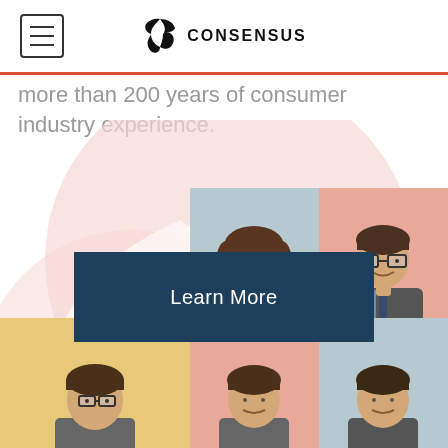CONSENSUS
more than 200 years of consumer industry experience.
[Figure (illustration): Large decorative pink circle and overlapping white crescent shape as background decoration]
[Figure (other): Dark teal 'Learn More' button/call-to-action]
[Figure (photo): Grid of professional headshots: woman with brown hair on blue-grey background, man with glasses on salmon background, partial row below with three more people on yellow, salmon, and blue-grey backgrounds respectively]